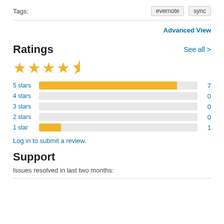Tags:
evernote   sync
Advanced View
Ratings
See all >
[Figure (other): 4.5 out of 5 stars rating (4 full stars and 1 half star)]
[Figure (bar-chart): Ratings breakdown]
Log in to submit a review.
Support
Issues resolved in last two months: